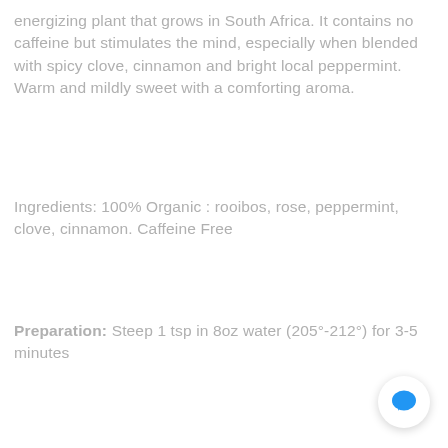energizing plant that grows in South Africa. It contains no caffeine but stimulates the mind, especially when blended with spicy clove, cinnamon and bright local peppermint. Warm and mildly sweet with a comforting aroma.
Ingredients: 100% Organic : rooibos, rose, peppermint, clove, cinnamon. Caffeine Free
Preparation: Steep 1 tsp in 8oz water (205°-212°) for 3-5 minutes